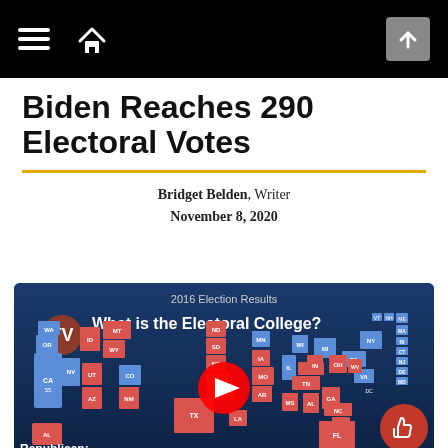Navigation bar with hamburger menu, home icon, and up arrow
Biden Reaches 290 Electoral Votes
Bridget Belden, Writer
November 8, 2020
[Figure (screenshot): YouTube video thumbnail showing a US electoral college map with 2016 Election Results. Blue states represent Democratic wins, red states represent Republican wins. Video title: 'What is the Electoral College?' Partial text at bottom: 'Republican:']